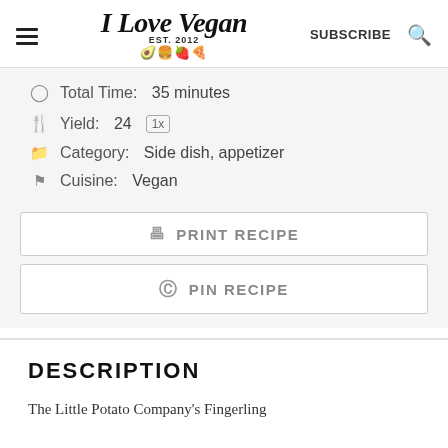I Love Vegan EST. 2012 | SUBSCRIBE
Total Time: 35 minutes
Yield: 24 1x
Category: Side dish, appetizer
Cuisine: Vegan
PRINT RECIPE
PIN RECIPE
DESCRIPTION
The Little Potato Company's Fingerling